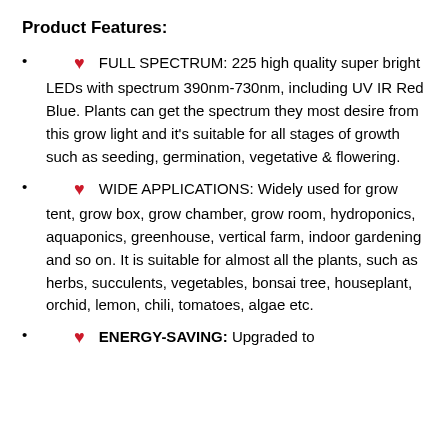Product Features:
FULL SPECTRUM: 225 high quality super bright LEDs with spectrum 390nm-730nm, including UV IR Red Blue. Plants can get the spectrum they most desire from this grow light and it’s suitable for all stages of growth such as seeding, germination, vegetative & flowering.
WIDE APPLICATIONS: Widely used for grow tent, grow box, grow chamber, grow room, hydroponics, aquaponics, greenhouse, vertical farm, indoor gardening and so on. It is suitable for almost all the plants, such as herbs, succulents, vegetables, bonsai tree, houseplant, orchid, lemon, chili, tomatoes, algae etc.
ENERGY-SAVING: Upgraded to